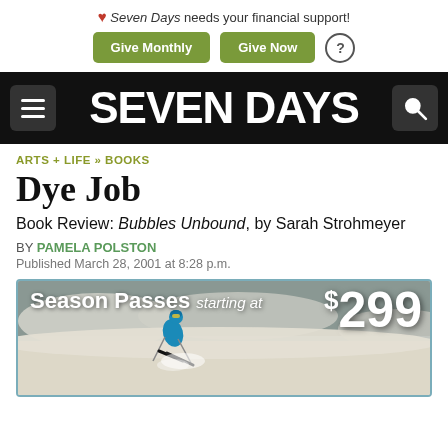❤ Seven Days needs your financial support! | Give Monthly | Give Now
[Figure (logo): Seven Days newspaper navigation bar with hamburger menu, SEVEN DAYS logo in white on black background, and search icon]
ARTS + LIFE » BOOKS
Dye Job
Book Review: Bubbles Unbound, by Sarah Strohmeyer
BY PAMELA POLSTON
Published March 28, 2001 at 8:28 p.m.
[Figure (photo): Advertisement: Season Passes starting at $299 with skier on snowy slope]